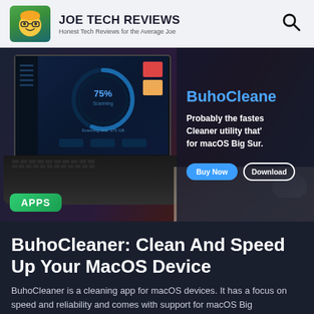JOE TECH REVIEWS — Honest Tech Reviews for the Average Joe
[Figure (screenshot): Hero banner showing a laptop with BuhoCleaner app on screen, macOS cleanup utility interface with circular progress gauge and scanning display. Right side overlay shows BuhoCleaner branding text, 'Probably the fastest Cleaner utility that's for macOS Big Sur.' with Buy Now and Download buttons.]
BuhoCleaner: Clean And Speed Up Your MacOS Device
BuhoCleaner is a cleaning app for macOS devices. It has a focus on speed and reliability and comes with support for macOS Big